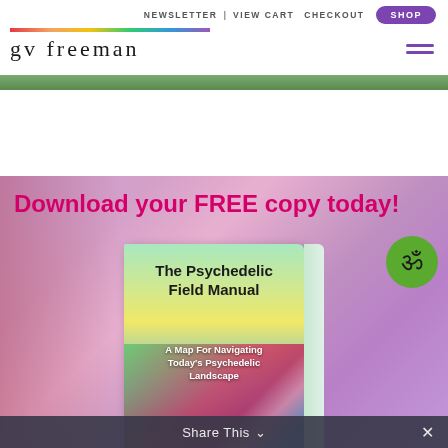NEWSLETTER | VIEW CART  CHECKOUT  SHOP
gv freeman
[Figure (screenshot): Website screenshot showing a promotional banner for 'The Psychedelic Field Manual' book with text 'Download your FREE copy today!' on a purple gradient background, with the book cover showing the title and subtitle 'A Map For Navigating Today's Psychedelic Landscape', an Om symbol circle in green on the right, and a 'Share This' bar at the bottom.]
Share This  ✓  ×